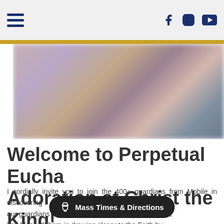Navigation header with hamburger menu and social icons (Facebook, Instagram, YouTube)
[Figure (photo): Blurred interior photo, likely a church sanctuary with figures and decorative elements in muted purples, pinks, and browns]
Welcome to Perpetual Eucharistic Adoration at Christ the King!
I cordially invite you to join the 400+ guardians from Mobile in discovering how our guardians have experienced how it has blessed them in drawing closer to the Faith by
Mass Times & Directions